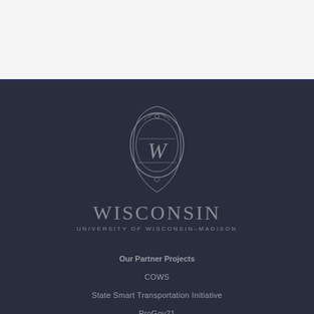[Figure (logo): University of Wisconsin-Madison crest logo with 'W' shield emblem, WISCONSIN text, and UNIVERSITY OF WISCONSIN-MADISON subtitle]
Our Partner Projects
COWS
State Smart Transportation Initiative
ProGov21